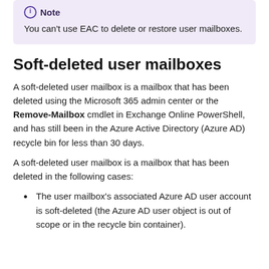Note
You can't use EAC to delete or restore user mailboxes.
Soft-deleted user mailboxes
A soft-deleted user mailbox is a mailbox that has been deleted using the Microsoft 365 admin center or the Remove-Mailbox cmdlet in Exchange Online PowerShell, and has still been in the Azure Active Directory (Azure AD) recycle bin for less than 30 days.
A soft-deleted user mailbox is a mailbox that has been deleted in the following cases:
The user mailbox's associated Azure AD user account is soft-deleted (the Azure AD user object is out of scope or in the recycle bin container).